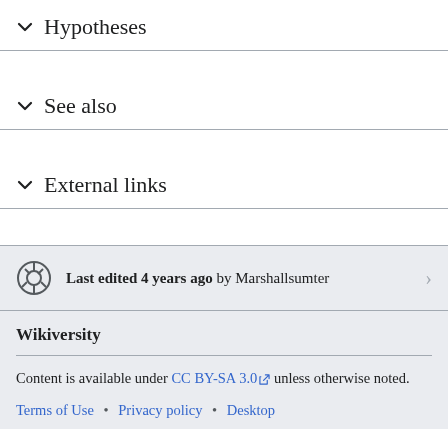Hypotheses
See also
External links
Last edited 4 years ago by Marshallsumter
Wikiversity
Content is available under CC BY-SA 3.0 unless otherwise noted.
Terms of Use • Privacy policy • Desktop